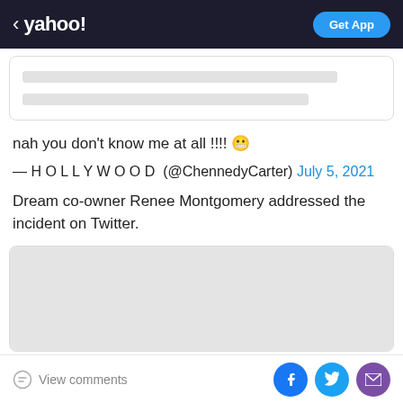< yahoo! | Get App
[Figure (screenshot): Partial tweet card with two skeleton/loading placeholder lines]
nah you don't know me at all !!!! 😬
— H O L L Y W O O D  (@ChennedyCarter) July 5, 2021
Dream co-owner Renee Montgomery addressed the incident on Twitter.
[Figure (screenshot): Embedded tweet card showing a grey placeholder/loading area]
View comments